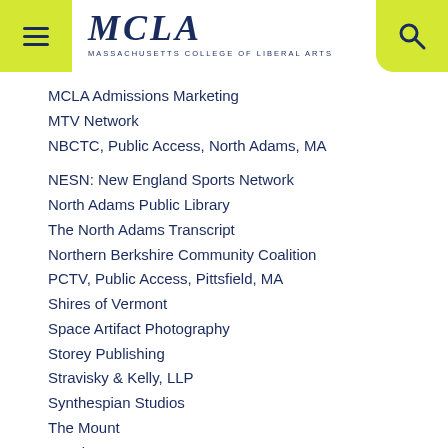MCLA — MASSACHUSETTS COLLEGE OF LIBERAL ARTS
MCLA Admissions Marketing
MTV Network
NBCTC, Public Access, North Adams, MA
NESN: New England Sports Network
North Adams Public Library
The North Adams Transcript
Northern Berkshire Community Coalition
PCTV, Public Access, Pittsfield, MA
Shires of Vermont
Space Artifact Photography
Storey Publishing
Stravisky & Kelly, LLP
Synthespian Studios
The Mount
Tupelo Press
WBZ TV 4, CBS, Boston